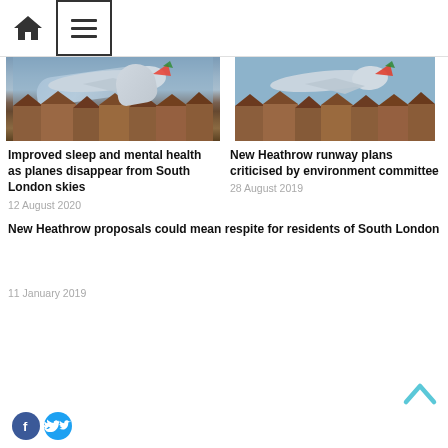Home / Menu navigation header
[Figure (photo): Emirates A380 airplane flying low over red-brick suburban houses under grey sky]
Improved sleep and mental health as planes disappear from South London skies
12 August 2020
[Figure (photo): Emirates A380 airplane flying low over red-brick suburban houses under grey sky]
New Heathrow runway plans criticised by environment committee
28 August 2019
New Heathrow proposals could mean respite for residents of South London
11 January 2019